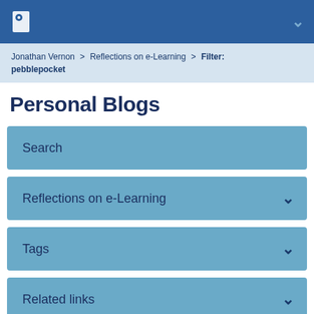Jonathan Vernon > Reflections on e-Learning > Filter: pebblepocket
Personal Blogs
Search
Reflections on e-Learning
Tags
Related links
Blog usage